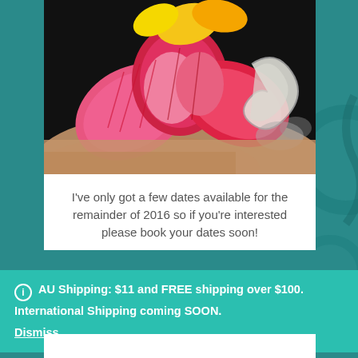[Figure (photo): Close-up photo of a colorful tattoo on skin — features a large pink and red lotus flower with yellow accents, and what appears to be a white/grey dragon or koi fish element, on a dark background.]
I've only got a few dates available for the remainder of 2016 so if you're interested please book your dates soon!
AU Shipping: $11 and FREE shipping over $100. International Shipping coming SOON.
Dismiss